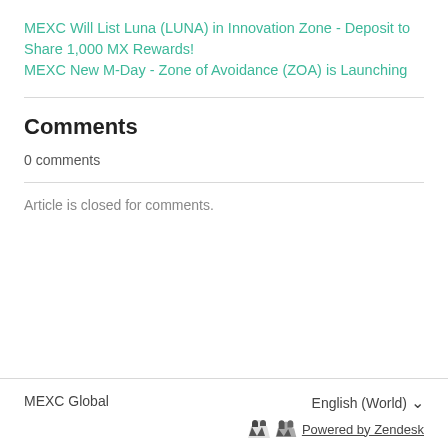MEXC Will List Luna (LUNA) in Innovation Zone - Deposit to Share 1,000 MX Rewards!
MEXC New M-Day - Zone of Avoidance (ZOA) is Launching
Comments
0 comments
Article is closed for comments.
MEXC Global    English (World)    Powered by Zendesk